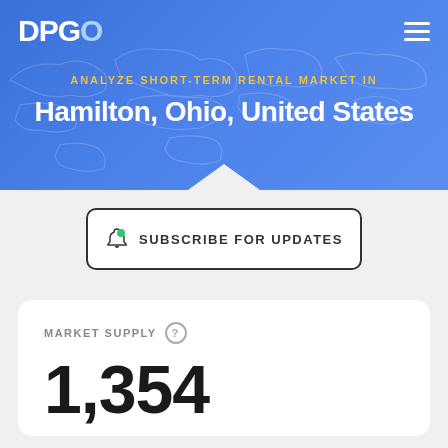DPGO
ANALYZE SHORT-TERM RENTAL MARKET IN
Hamilton, Ohio, United States
SUBSCRIBE FOR UPDATES
MARKET SUPPLY
1,354